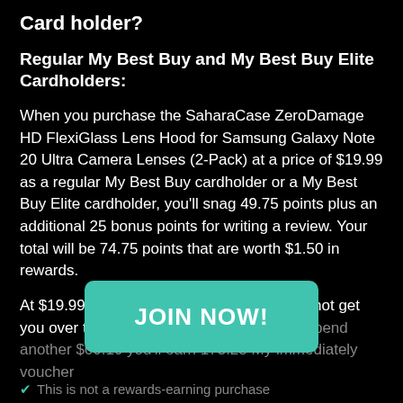Card holder?
Regular My Best Buy and My Best Buy Elite Cardholders:
When you purchase the SaharaCase ZeroDamage HD FlexiGlass Lens Hood for Samsung Galaxy Note 20 Ultra Camera Lenses (2-Pack) at a price of $19.99 as a regular My Best Buy cardholder or a My Best Buy Elite cardholder, you'll snag 49.75 points plus an additional 25 bonus points for writing a review. Your total will be 74.75 points that are worth $1.50 in rewards.
At $19.99, purchasing this item alone does not get you over the rewards threshold. But if you spend another $60.10 you'll earn 175.25 My Best Buy points and immediately receive a voucher
[Figure (other): JOIN NOW! button in teal/green color overlaying the text]
✔ This is not a rewards-earning purchase